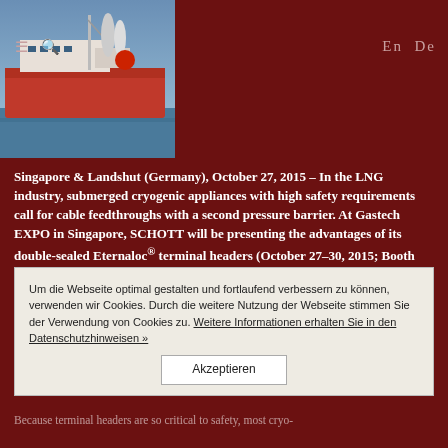En De
[Figure (photo): Ship photo showing a large vessel with cryogenic/LNG equipment, set against a blue sky and water background.]
Singapore & Landshut (Germany), October 27, 2015 – In the LNG industry, submerged cryogenic appliances with high safety requirements call for cable feedthroughs with a second pressure barrier. At Gastech EXPO in Singapore, SCHOTT will be presenting the advantages of its double-sealed Eternaloc® terminal headers (October 27–30, 2015; Booth D238). Equipped with two hermetically and electrically connected, yet mechanically decoupled glass-to-metal seals, they truly provide the additional pressure barrier to meet the highest safety requirements. In addition, SCHOTT Eternaloc® dual seals come in designs that are much more compact and reduced in weight compared to other market solutions.
Reliable terminal headers are needed to safely transmit electrical power and signals in cryogenic environments at very low temperatures, which also demands that the terminal headers need to be resilient to thermal shock and vibrations while still remaining...
Because terminal headers are so critical to safety, most cryo-applications – especially those that operate under high pressure – require a redundant electrical and mechanical sealing to maintain the
Um die Webseite optimal gestalten und fortlaufend verbessern zu können, verwenden wir Cookies. Durch die weitere Nutzung der Webseite stimmen Sie der Verwendung von Cookies zu. Weitere Informationen erhalten Sie in den Datenschutzhinweisen »
Akzeptieren